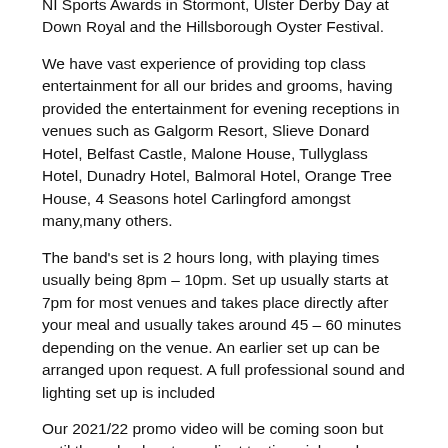NI Sports Awards in Stormont, Ulster Derby Day at Down Royal and the Hillsborough Oyster Festival.
We have vast experience of providing top class entertainment for all our brides and grooms, having provided the entertainment for evening receptions in venues such as Galgorm Resort, Slieve Donard Hotel, Belfast Castle, Malone House, Tullyglass Hotel, Dunadry Hotel, Balmoral Hotel, Orange Tree House, 4 Seasons hotel Carlingford amongst many,many others.
The band's set is 2 hours long, with playing times usually being 8pm – 10pm. Set up usually starts at 7pm for most venues and takes place directly after your meal and usually takes around 45 – 60 minutes depending on the venue. An earlier set up can be arranged upon request. A full professional sound and lighting set up is included
Our 2021/22 promo video will be coming soon but until then check out our client testimonials and our set list and if you require further information, don't hesitate to get in touch!